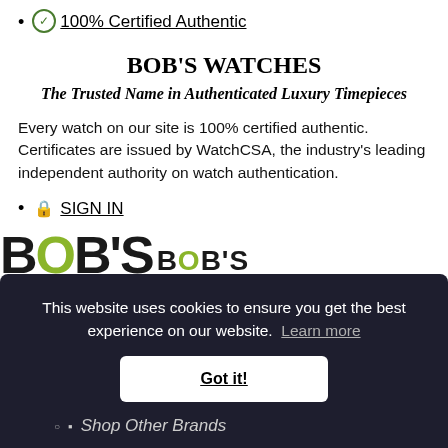100% Certified Authentic
BOB'S WATCHES
The Trusted Name in Authenticated Luxury Timepieces
Every watch on our site is 100% certified authentic. Certificates are issued by WatchCSA, the industry's leading independent authority on watch authentication.
SIGN IN
[Figure (logo): Bob's Watches logo in large and small text with green O letters]
This website uses cookies to ensure you get the best experience on our website. Learn more
Got it!
Shop Other Brands